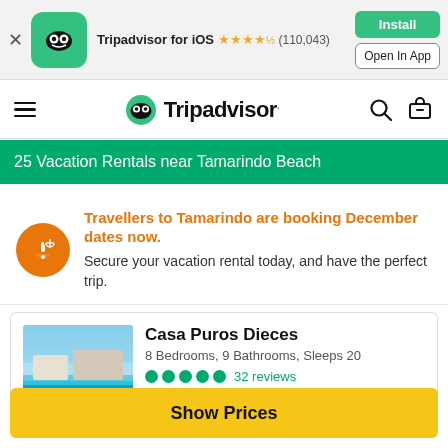[Figure (screenshot): App install banner showing Tripadvisor for iOS with star rating (110,043 reviews), Install button (green) and Open In App button]
Tripadvisor for iOS ★★★★½ (110,043) | Install | Open In App
[Figure (logo): Tripadvisor owl logo with navigation bar including hamburger menu, Tripadvisor wordmark, search and cart icons]
25 Vacation Rentals near Tamarindo Beach
Travellers to Tamarindo are booking December dates now. Secure your vacation rental today, and have the perfect trip.
[Figure (photo): Photo of Casa Puros Dieces showing a luxury property with infinity pool and ocean view]
Casa Puros Dieces
8 Bedrooms, 9 Bathrooms, Sleeps 20
●●●●● 32 reviews
Payment Protection
Show Prices